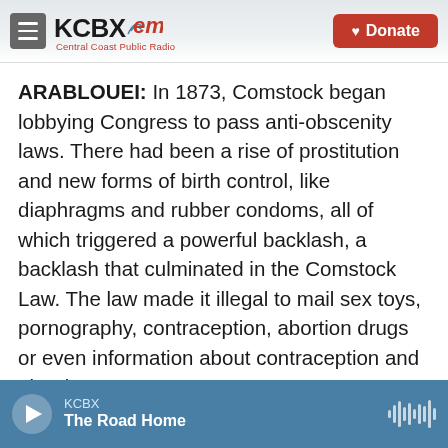KCBX FM Central Coast Public Radio | Donate
ARABLOUEI: In 1873, Comstock began lobbying Congress to pass anti-obscenity laws. There had been a rise of prostitution and new forms of birth control, like diaphragms and rubber condoms, all of which triggered a powerful backlash, a backlash that culminated in the Comstock Law. The law made it illegal to mail sex toys, pornography, contraception, abortion drugs or even information about contraception and abortion.
GOODWIN: Including some medical books that had pictures of anatomy - right? - is just how deep it went.
KCBX | The Road Home